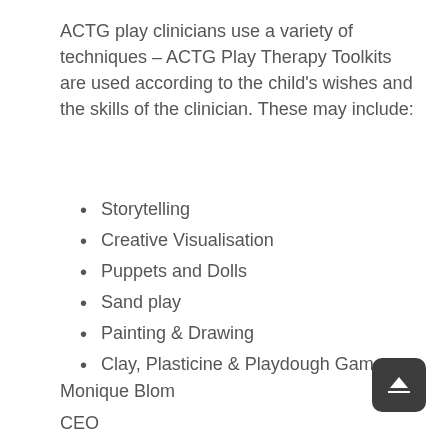ACTG play clinicians use a variety of techniques – ACTG Play Therapy Toolkits are used according to the child's wishes and the skills of the clinician. These may include:
Storytelling
Creative Visualisation
Puppets and Dolls
Sand play
Painting & Drawing
Clay, Plasticine & Playdough Games
Monique Blom
CEO